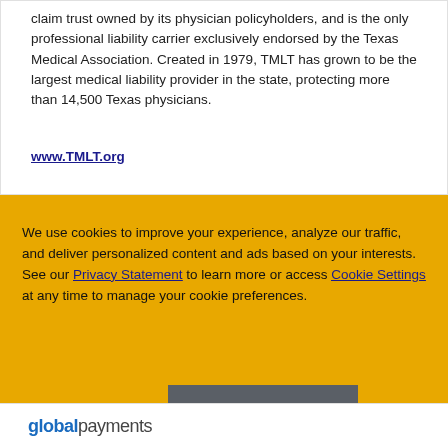claim trust owned by its physician policyholders, and is the only professional liability carrier exclusively endorsed by the Texas Medical Association. Created in 1979, TMLT has grown to be the largest medical liability provider in the state, protecting more than 14,500 Texas physicians.
www.TMLT.org
We use cookies to improve your experience, analyze our traffic, and deliver personalized content and ads based on your interests. See our Privacy Statement to learn more or access Cookie Settings at any time to manage your cookie preferences.
Decline   Allow cookies
[Figure (logo): globalpayments logo at bottom of page]